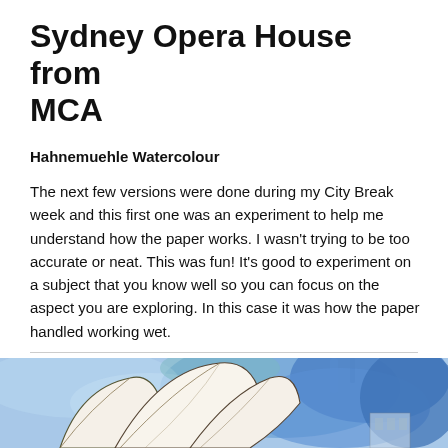Sydney Opera House from MCA
Hahnemuehle Watercolour
The next few versions were done during my City Break week and this first one was an experiment to help me understand how the paper works. I wasn’t trying to be too accurate or neat. This was fun! It’s good to experiment on a subject that you know well so you can focus on the aspect you are exploring. In this case it was how the paper handled working wet.
[Figure (illustration): Watercolour sketch of the Sydney Opera House viewed from the MCA, showing the distinctive white shell-shaped roof structures against a blue watercolour wash background.]